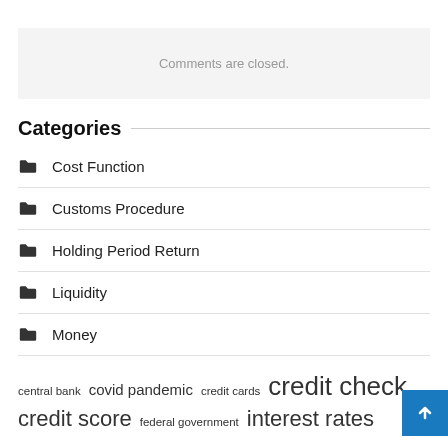Comments are closed.
Categories
Cost Function
Customs Procedure
Holding Period Return
Liquidity
Money
central bank  covid pandemic  credit cards  credit check  credit score  federal government  interest rates